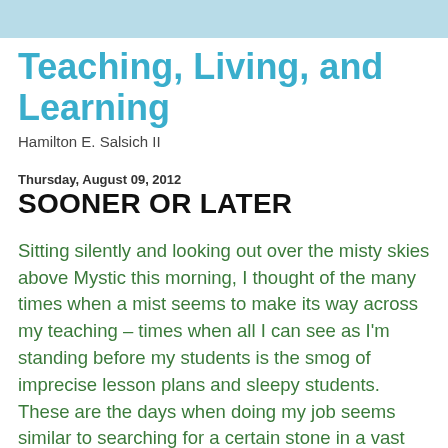Teaching, Living, and Learning
Hamilton E. Salsich II
Thursday, August 09, 2012
SOONER OR LATER
Sitting silently and looking out over the misty skies above Mystic this morning, I thought of the many times when a mist seems to make its way across my teaching – times when all I can see as I'm standing before my students is the smog of imprecise lesson plans and sleepy students. These are the days when doing my job seems similar to searching for a certain stone in a vast and hazy forest. Try as I might, on those confused classroom days I see no signals ahead to help me make the most out of whatever